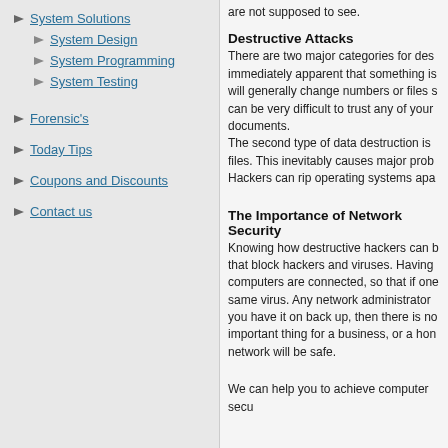System Solutions
System Design
System Programming
System Testing
Forensic's
Today Tips
Coupons and Discounts
Contact us
are not supposed to see.
Destructive Attacks
There are two major categories for des immediately apparent that something is will generally change numbers or files s can be very difficult to trust any of your documents. The second type of data destruction is files. This inevitably causes major prob Hackers can rip operating systems apa
The Importance of Network Security
Knowing how destructive hackers can b that block hackers and viruses. Having computers are connected, so that if one same virus. Any network administrator you have it on back up, then there is no important thing for a business, or a hon network will be safe.
We can help you to achieve computer secu